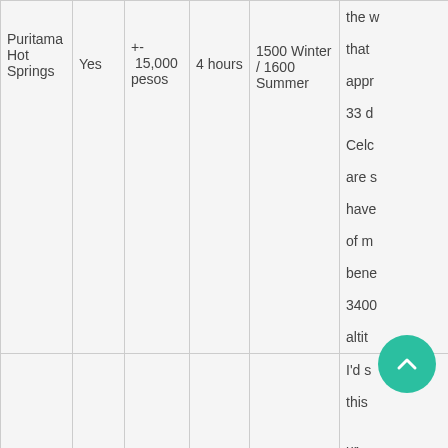| Location | Accessible | Cost | Travel Time | Entry Fee | Notes |
| --- | --- | --- | --- | --- | --- |
| Puritama Hot Springs | Yes | +- 15,000 pesos | 4 hours | 1500 Winter / 1600 Summer | the w... that ... appr... 33 d... Celc... are s... have... of m... bene... 3400... altit... |
|  |  |  |  |  | I'd s... this ... ur... 13km... San... |